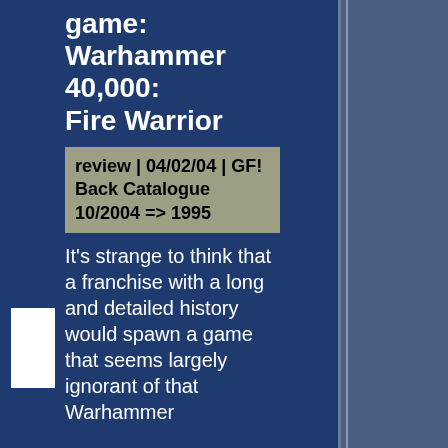game: Warhammer 40,000: Fire Warrior
review | 04/02/04 | GF! Back Catalogue 10/2004 => 1995
[Figure (logo): W3C XHTML 1.0 validation badge with checkmark]
It's strange to think that a franchise with a long and detailed history would spawn a game that seems largely ignorant of that Warhammer